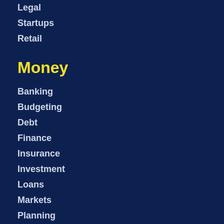Legal
Startups
Retail
Money
Banking
Budgeting
Debt
Finance
Insurance
Investment
Loans
Markets
Planning
Retirement
Taxes